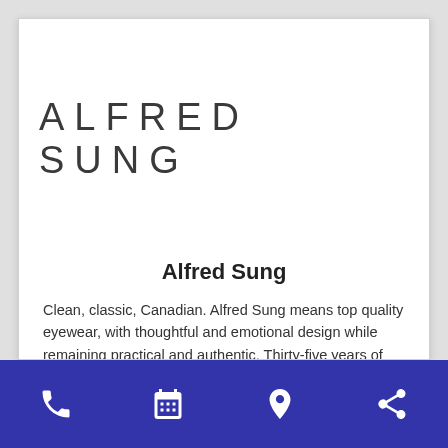[Figure (logo): Alfred Sung brand logo in large spaced uppercase letters on white background]
Alfred Sung
Clean, classic, Canadian. Alfred Sung means top quality eyewear, with thoughtful and emotional design while remaining practical and authentic. Thirty-five years of aesthetic mastery has brought Alfred Sung eyewear to the pinnacle of style, with frames handcrafted in Italy and Japan. Available only at select
[Figure (infographic): Bottom navigation bar with phone, calendar, location pin, and share icons on dark blue background]